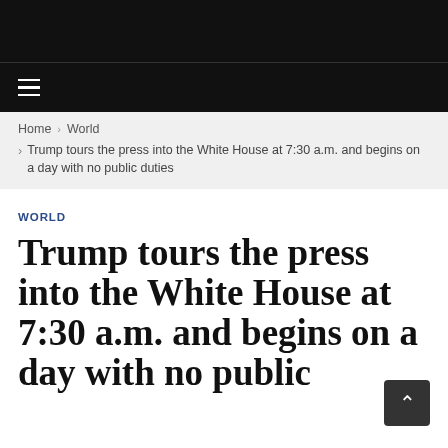≡
Home › World › Trump tours the press into the White House at 7:30 a.m. and begins on a day with no public duties
WORLD
Trump tours the press into the White House at 7:30 a.m. and begins on a day with no public